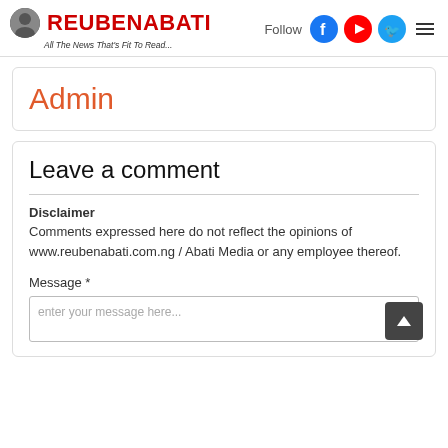ReubenAbati — All The News That's Fit To Read...
Admin
Leave a comment
Disclaimer
Comments expressed here do not reflect the opinions of www.reubenabati.com.ng / Abati Media or any employee thereof.
Message *
enter your message here...